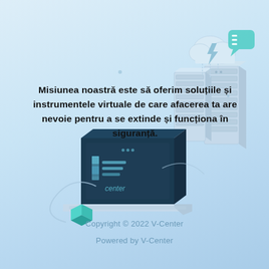[Figure (illustration): Isometric illustration of server racks, a laptop showing V-center branding, a cloud with lightning bolt, a teal chat bubble, a teal cube, and connecting network lines on a light blue gradient background.]
Misiunea noastră este să oferim soluțiile și instrumentele virtuale de care afacerea ta are nevoie pentru a se extinde și funcționa în siguranță.
Copyright © 2022 V-Center
Powered by V-Center